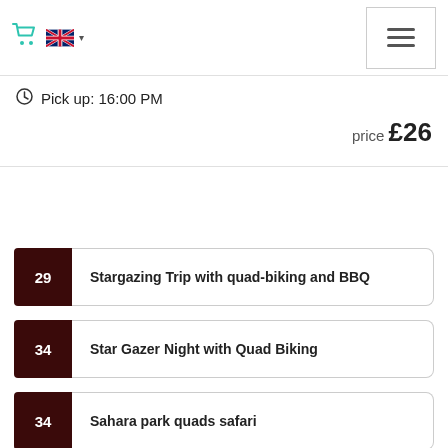Navigation bar with cart icon, UK flag, and hamburger menu
Pick up: 16:00 PM
price £26
29 Stargazing Trip with quad-biking and BBQ
34 Star Gazer Night with Quad Biking
34 Sahara park quads safari
301 White and Black Desert tour with Gara Cave